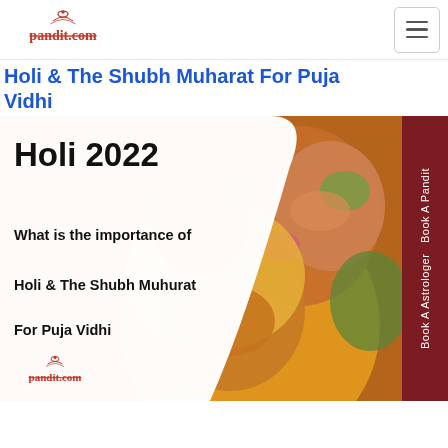pandit.com (logo and navigation)
Holi & The Shubh Muharat For Puja Vidhi
[Figure (infographic): Banner image for Holi 2022 article. Left side shows white panel with bold text: 'Holi 2022', 'What is the importance of', 'Holi & The Shubh Muharat', 'For Puja Vidhi' and pandit.com logo. Right side shows photo of people with colourful faces (Holi festival). Dark red vertical sidebar on far right reads 'Book A Astrologer Book A Pandit'.]